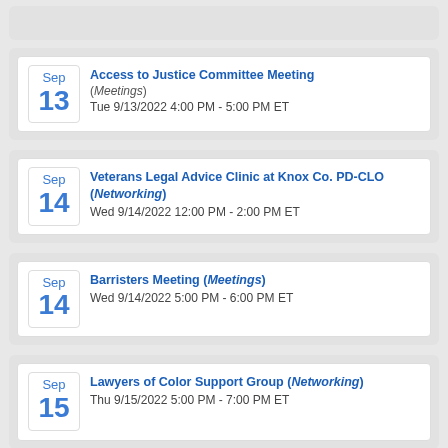Access to Justice Committee Meeting (Meetings) Tue 9/13/2022 4:00 PM - 5:00 PM ET
Veterans Legal Advice Clinic at Knox Co. PD-CLO (Networking) Wed 9/14/2022 12:00 PM - 2:00 PM ET
Barristers Meeting (Meetings) Wed 9/14/2022 5:00 PM - 6:00 PM ET
Lawyers of Color Support Group (Networking) Thu 9/15/2022 5:00 PM - 7:00 PM ET